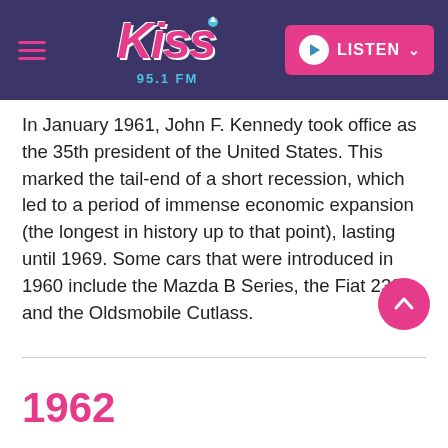Kiss 95.1 FM — header navigation bar with logo and listen button
In January 1961, John F. Kennedy took office as the 35th president of the United States. This marked the tail-end of a short recession, which led to a period of immense economic expansion (the longest in history up to that point), lasting until 1969. Some cars that were introduced in 1960 include the Mazda B Series, the Fiat 2300, and the Oldsmobile Cutlass.
1962